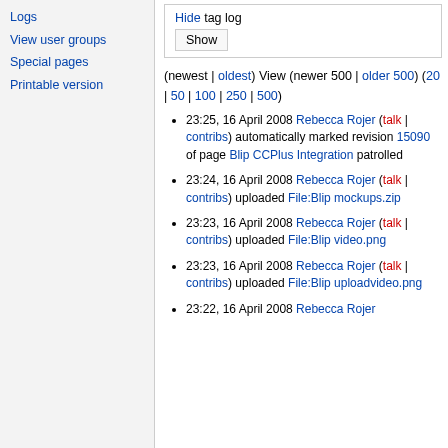Logs
View user groups
Special pages
Printable version
Hide tag log
Show
(newest | oldest) View (newer 500 | older 500) (20 | 50 | 100 | 250 | 500)
23:25, 16 April 2008 Rebecca Rojer (talk | contribs) automatically marked revision 15090 of page Blip CCPlus Integration patrolled
23:24, 16 April 2008 Rebecca Rojer (talk | contribs) uploaded File:Blip mockups.zip
23:23, 16 April 2008 Rebecca Rojer (talk | contribs) uploaded File:Blip video.png
23:23, 16 April 2008 Rebecca Rojer (talk | contribs) uploaded File:Blip uploadvideo.png
23:22, 16 April 2008 Rebecca Rojer